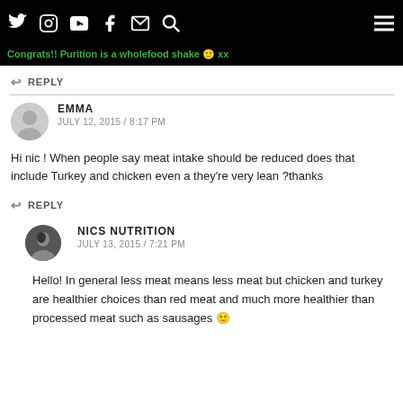Navigation bar with social icons (Twitter, Instagram, YouTube, Facebook, Mail, Search) and hamburger menu
Congrats!! Purition is a wholefood shake 🙂 xx
REPLY
EMMA
JULY 12, 2015 / 8:17 PM
Hi nic ! When people say meat intake should be reduced does that include Turkey and chicken even a they're very lean ?thanks
REPLY
NICS NUTRITION
JULY 13, 2015 / 7:21 PM
Hello! In general less meat means less meat but chicken and turkey are healthier choices than red meat and much more healthier than processed meat such as sausages 🙂